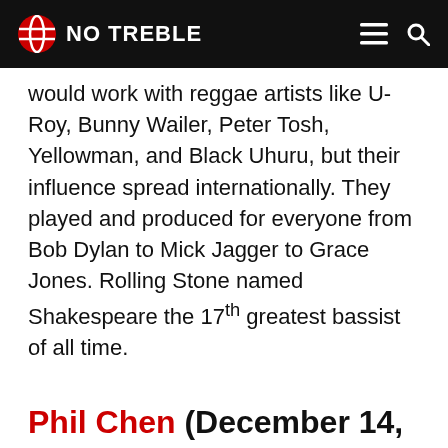NO TREBLE
would work with reggae artists like U-Roy, Bunny Wailer, Peter Tosh, Yellowman, and Black Uhuru, but their influence spread internationally. They played and produced for everyone from Bob Dylan to Mick Jagger to Grace Jones. Rolling Stone named Shakespeare the 17th greatest bassist of all time.
Phil Chen (December 14, 2021)